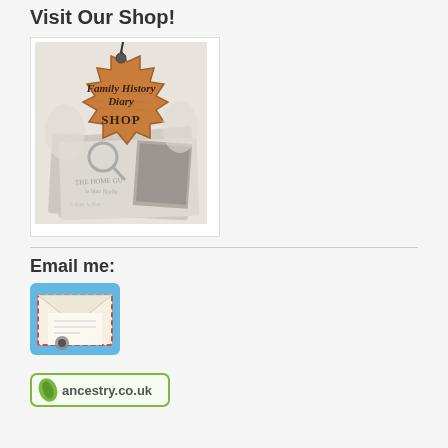Visit Our Shop!
[Figure (logo): Family History Diary Shop wooden tag sign with vintage paper ephemera and 'THE HOME GUARD' text]
Email me:
[Figure (illustration): Email icon: envelope with red dashed border on blue background]
[Figure (logo): ancestry.co.uk logo with green leaf icon]